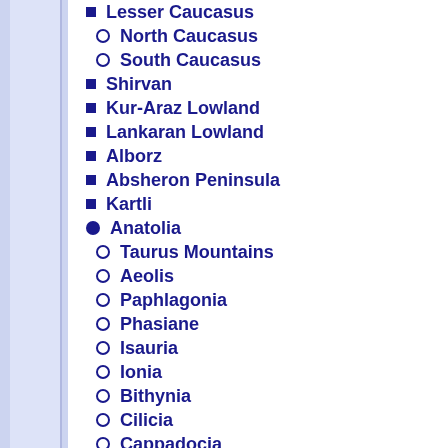Lesser Caucasus
North Caucasus
South Caucasus
Shirvan
Kur-Araz Lowland
Lankaran Lowland
Alborz
Absheron Peninsula
Kartli
Anatolia
Taurus Mountains
Aeolis
Paphlagonia
Phasiane
Isauria
Ionia
Bithynia
Cilicia
Cappadocia